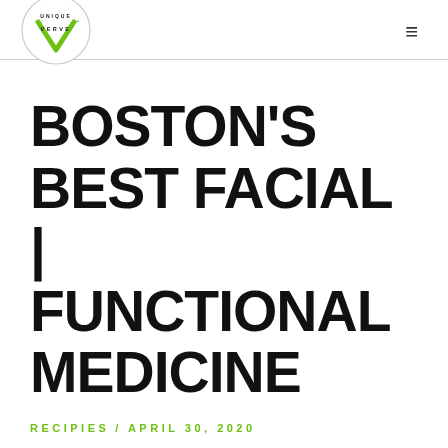UNIQUE VERVE [logo] [hamburger menu]
BOSTON'S BEST FACIAL | FUNCTIONAL MEDICINE
RECIPIES / APRIL 30, 2020